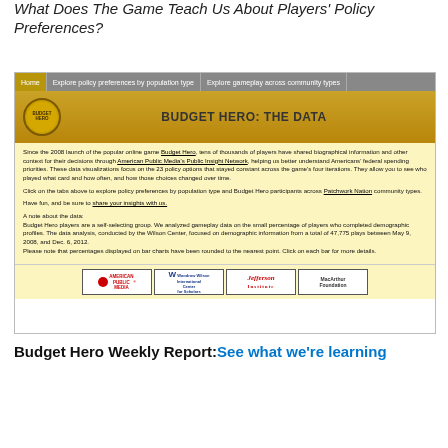What Does The Game Teach Us About Players' Policy Preferences?
[Figure (screenshot): Screenshot of the Budget Hero: The Data website, showing navigation tabs (Home, Explore policy preferences by population type, Explore gameplay across community types), the Budget Hero logo, a text description of the data visualizations, and logos of American Public Media, Woodrow Wilson International Center for Scholars, Jefferson Institute, and MacArthur Foundation.]
Budget Hero Weekly Report: See what we're learning